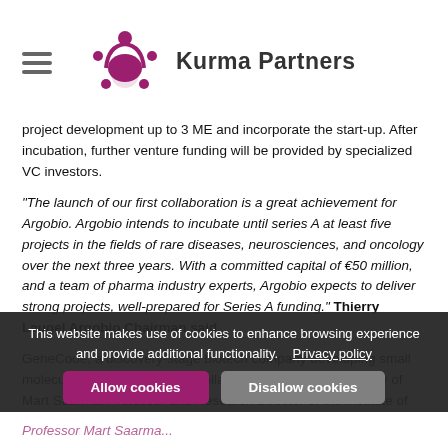[Figure (logo): Kurma Partners logo with stylized turtle icon in dark red/maroon color and hamburger menu icon on left]
project development up to 3 ME and incorporate the start-up. After incubation, further venture funding will be provided by specialized VC investors.
“The launch of our first collaboration is a great achievement for Argobio. Argobio intends to incubate until series A at least five projects in the fields of rare diseases, neurosciences, and oncology over the next three years. With a committed capital of €50 million, and a team of pharma industry experts, Argobio expects to deliver strong projects, well-prepared for Series A funding.” Thierry Laugel Argobio Chairman said.
GeneCode, a discovery-stage biotech company developing small molecule GDNF mimetics, in collaboration with the laboratory of Mart Saarma, Professor and Research Director of the Institute of Biotechnology, HI-LIFE, University of Helsinki, Finland, has identified and patented a series of small molecules activating the GDNF signalling receptor RET tyrosine kinase. Professor Saarma
This website makes use of cookies to enhance browsing experience and provide additional functionality.  Privacy policy
Professor Mart Saarma...